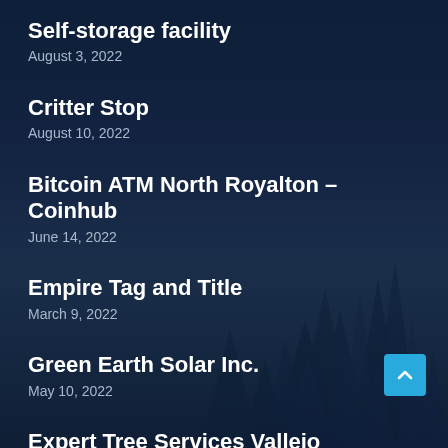Self-storage facility
August 3, 2022
Critter Stop
August 10, 2022
Bitcoin ATM North Royalton – Coinhub
June 14, 2022
Empire Tag and Title
March 9, 2022
Green Earth Solar Inc.
May 10, 2022
Expert Tree Services Vallejo